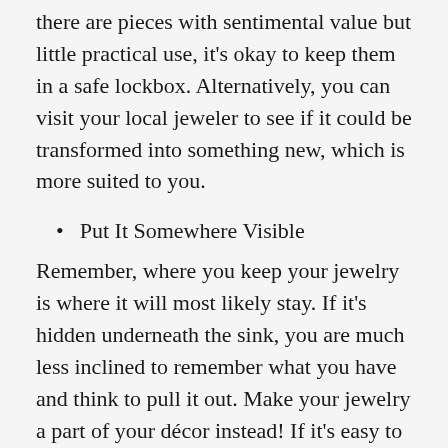there are pieces with sentimental value but little practical use, it's okay to keep them in a safe lockbox. Alternatively, you can visit your local jeweler to see if it could be transformed into something new, which is more suited to you.
Put It Somewhere Visible
Remember, where you keep your jewelry is where it will most likely stay. If it's hidden underneath the sink, you are much less inclined to remember what you have and think to pull it out. Make your jewelry a part of your décor instead! If it's easy to see, it will be that much easier to wear. Use a bulletin board like the one shown to keep all your necklaces where you can see them, or use jewelry stands to keep things nearby and neat. You can check out our Pinterest Jewelry board to find more creative ideas for